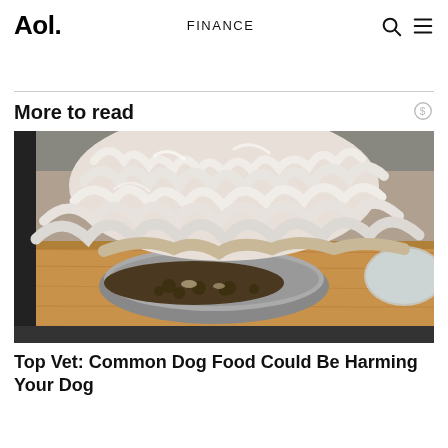Aol.  FINANCE
More to read
[Figure (photo): A fluffy white dog eating from a silver bowl on a wooden tray. The dog's curly white fur fills the top of the image, and the bowl contains brown dog food kibble.]
Top Vet: Common Dog Food Could Be Harming Your Dog